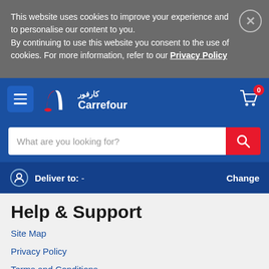This website uses cookies to improve your experience and to personalise our content to you. By continuing to use this website you consent to the use of cookies. For more information, refer to our Privacy Policy
[Figure (screenshot): Carrefour website navigation header with logo, hamburger menu, cart icon with badge 0]
What are you looking for?
Deliver to:  -   Change
Help & Support
Site Map
Privacy Policy
Terms and Conditions
Contact Us